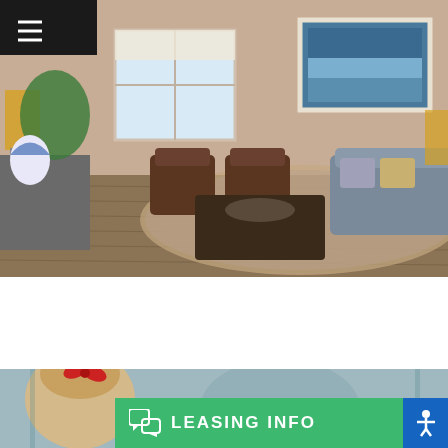[Figure (photo): Interior living room photo showing a furnished apartment with gray sofa, brown leather chairs, wooden coffee table, patterned area rug, hardwood floors, two windows, framed wall art, and decorative items on a console table with plants.]
[Figure (photo): Partial photo of a young child with blonde hair in a ponytail with a red bow, viewed from behind, with blurred background.]
LEASING INFO